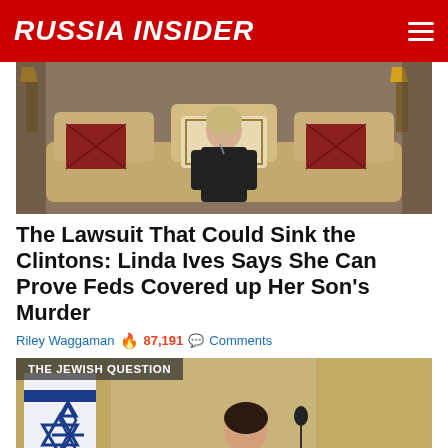RUSSIA INSIDER
[Figure (photo): Woman in black sitting on an ornate sofa with decorative pillows]
The Lawsuit That Could Sink the Clintons: Linda Ives Says She Can Prove Feds Covered up Her Son's Murder
Riley Waggaman 🔥 87,191 💬 Comments
[Figure (photo): Woman in pink top standing near Israeli flag with microphone, tag reading THE JEWISH QUESTION]